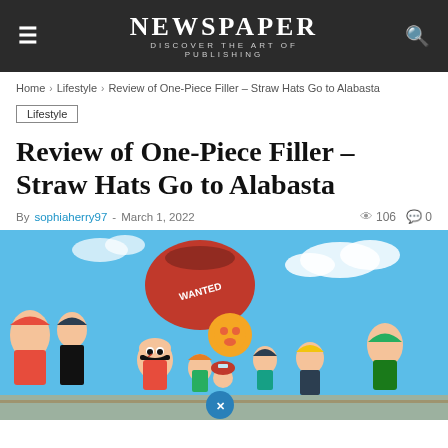NEWSPAPER — DISCOVER THE ART OF PUBLISHING
Home > Lifestyle > Review of One-Piece Filler – Straw Hats Go to Alabasta
Lifestyle
Review of One-Piece Filler – Straw Hats Go to Alabasta
By sophiaherry97 - March 1, 2022  106  0
[Figure (illustration): Colorful manga-style illustration of One Piece Straw Hat crew characters including Luffy, Nami, Chopper, Sanji, Zoro and others in a vibrant action pose]